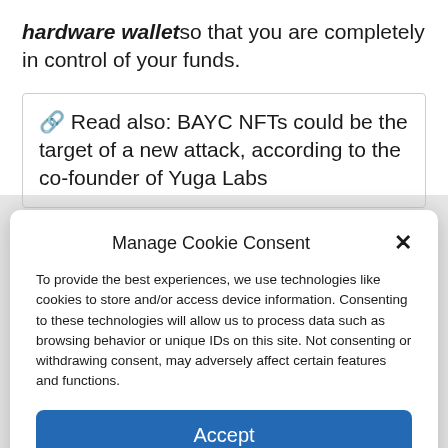hardware wallet so that you are completely in control of your funds.
🔗 Read also: BAYC NFTs could be the target of a new attack, according to the co-founder of Yuga Labs
Manage Cookie Consent
To provide the best experiences, we use technologies like cookies to store and/or access device information. Consenting to these technologies will allow us to process data such as browsing behavior or unique IDs on this site. Not consenting or withdrawing consent, may adversely affect certain features and functions.
Accept
Cookie Policy